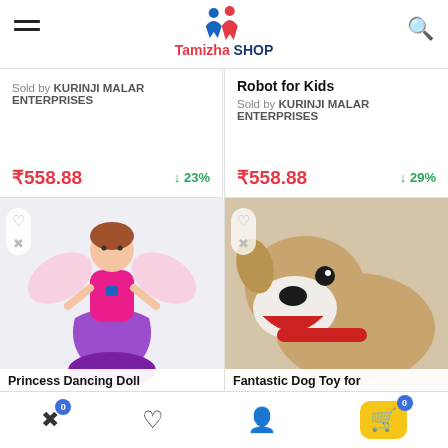Tamizha SHOP
Sold by KURINJI MALAR ENTERPRISES
₹558.88  ↓23%
Robot for Kids
Sold by KURINJI MALAR ENTERPRISES
₹558.88  ↓29%
[Figure (photo): Princess Dancing Doll toy with fairy wings and purple skirt]
Princess Dancing Doll
[Figure (photo): Fantastic Dog Toy stuffed plush brown dog with red collar]
Fantastic Dog Toy for
Compare | Wishlist | Account | Cart (0)